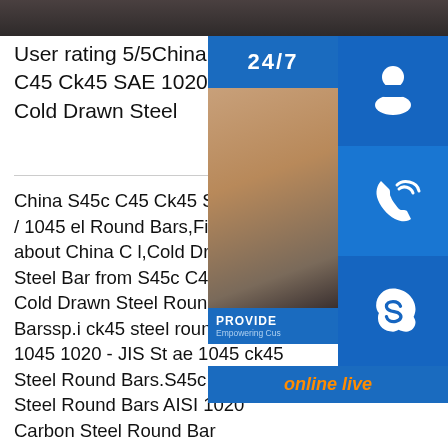[Figure (photo): Dark grey/brown bar representing top of a photo (cropped steel bar or industrial material image)]
User rating 5/5China S45c C45 Ck45 SAE 1020 / 1045 Cold Drawn Steel
China S45c C45 Ck45 SAE 1020 / 1045 el Round Bars,Find details about China C l,Cold Drawn Steel Bar from S45c C45 C 1045 Cold Drawn Steel Round Barssp.i ck45 steel round bar 1045 1020 - JIS St ae 1045 ck45 Steel Round Bars.S45c S 45 Steel Round Bars AISI 1020 Carbon Steel Round Bar Qingdao Helio Steel China AISI 1020 Carbon Steel Round Bar,Find details about China Round Bar,Steel Round Bar from AISI 1020 Carbon Steel AISI 1045 S45c S35c 10 35Round Bar GB 45#,AISI1045,C45e4,DIN Ck45,JIS Ss 400 Steel Round Bar SAEsp.infoRelated searches for rou
[Figure (infographic): Customer service contact widget with 24/7 label, headset icon, phone icon, Skype icon, woman in headset photo, PROVIDE Empowering Customers text, and orange 'online live' button]